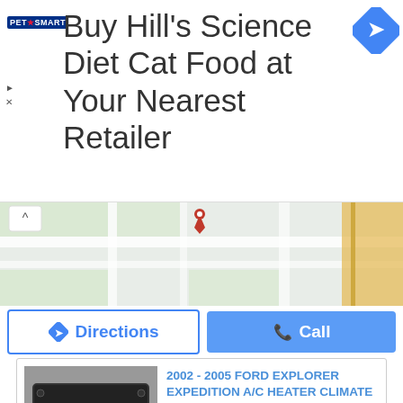[Figure (screenshot): PetSmart advertisement banner: 'Buy Hill's Science Diet Cat Food at Your Nearest Retailer' with PetSmart logo on left and blue navigation diamond icon on right]
[Figure (map): Google Maps partial screenshot showing street map with a red location pin marker and a collapse chevron button in top left]
[Figure (screenshot): Two buttons: 'Directions' with blue outline and blue diamond icon, and 'Call' with blue background and phone icon]
[Figure (photo): Photo of a black automotive A/C heater climate control unit with two circular dial openings]
2002 - 2005 FORD EXPLORER EXPEDITION A/C HEATER CLIMATE TEMP CONTROL UNIT
$33.00 reduced from $36.00